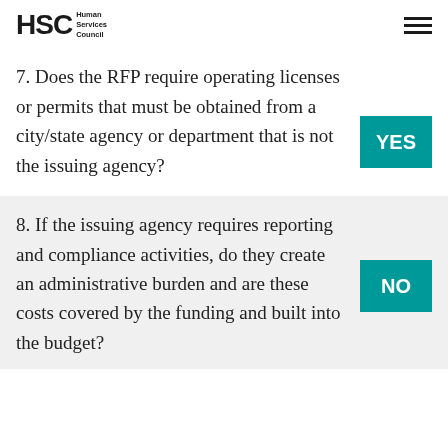HSC Human Services Council
7. Does the RFP require operating licenses or permits that must be obtained from a city/state agency or department that is not the issuing agency?
YES
8. If the issuing agency requires reporting and compliance activities, do they create an administrative burden and are these costs covered by the funding and built into the budget?
NO